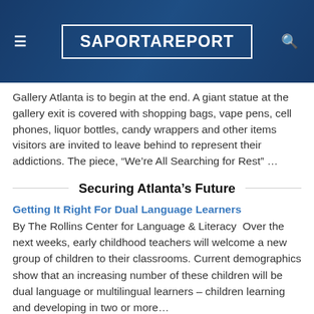SaportaReport
Gallery Atlanta is to begin at the end. A giant statue at the gallery exit is covered with shopping bags, vape pens, cell phones, liquor bottles, candy wrappers and other items visitors are invited to leave behind to represent their addictions. The piece, “We’re All Searching for Rest” …
Securing Atlanta’s Future
Getting It Right For Dual Language Learners
By The Rollins Center for Language & Literacy  Over the next weeks, early childhood teachers will welcome a new group of children to their classrooms. Current demographics show that an increasing number of these children will be dual language or multilingual learners – children learning and developing in two or more…
Recent Comments